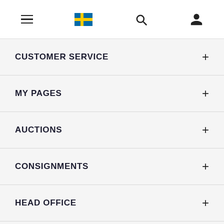Navigation header with hamburger menu, Swedish flag, search icon, and user icon
CUSTOMER SERVICE
MY PAGES
AUCTIONS
CONSIGNMENTS
HEAD OFFICE
LINKS